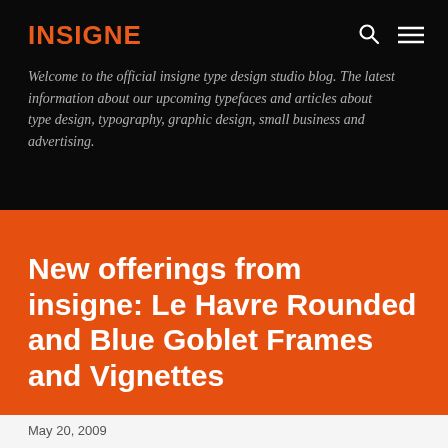INSIGNE
Welcome to the official insigne type design studio blog. The latest information about our upcoming typefaces and articles about type design, typography, graphic design, small business and advertising.
New offerings from insigne: Le Havre Rounded and Blue Goblet Frames and Vignettes
May 20, 2009